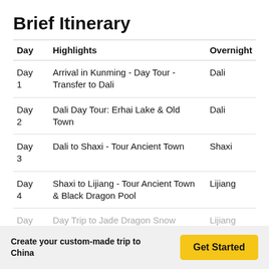Brief Itinerary
| Day | Highlights | Overnight |
| --- | --- | --- |
| Day 1 | Arrival in Kunming - Day Tour - Transfer to Dali | Dali |
| Day 2 | Dali Day Tour: Erhai Lake & Old Town | Dali |
| Day 3 | Dali to Shaxi - Tour Ancient Town | Shaxi |
| Day 4 | Shaxi to Lijiang - Tour Ancient Town & Black Dragon Pool | Lijiang |
| Day ... | Day Trip to Jade Dragon Snow Mountain | Lijiang |
Create your custom-made trip to China
Get Started